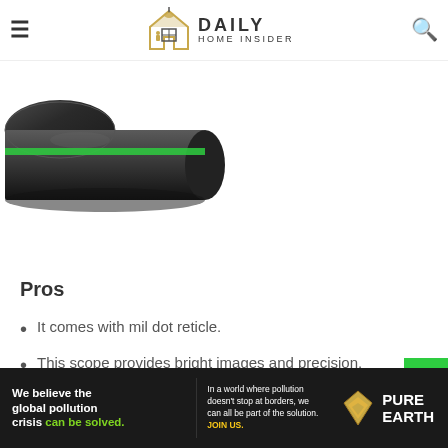Daily Home Insider — navigation header with hamburger menu and search icon
[Figure (photo): Partial view of a rifle scope with green accent stripe, dark cylindrical body, shown at an angle from the bottom-left corner of the frame]
Pros
It comes with mil dot reticle.
This scope provides bright images and precision.
[Figure (infographic): Advertisement banner for Pure Earth: 'We believe the global pollution crisis can be solved.' with Pure Earth logo]